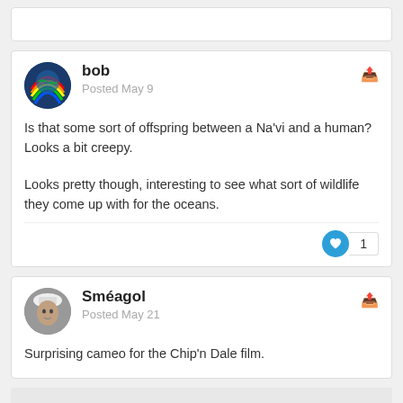bob
Posted May 9
Is that some sort of offspring between a Na'vi and a human? Looks a bit creepy.
Looks pretty though, interesting to see what sort of wildlife they come up with for the oceans.
Sméagol
Posted May 21
Surprising cameo for the Chip'n Dale film.